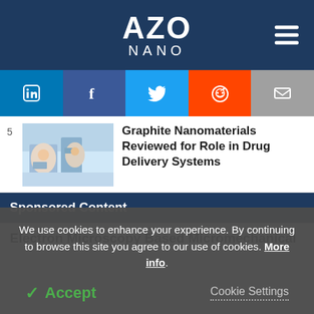AZO NANO
[Figure (logo): AZO NANO logo in white text on dark navy blue background with hamburger menu icon on right]
[Figure (infographic): Social sharing buttons row: LinkedIn (blue), Facebook (dark blue), Twitter (light blue), Reddit (orange), Email (gray)]
[Figure (photo): Lab photo showing researchers working with microscopes in a laboratory setting, item number 5]
Graphite Nanomaterials Reviewed for Role in Drug Delivery Systems
Sponsored Content
Electron Microscopy Based Micromechanical
We use cookies to enhance your experience. By continuing to browse this site you agree to our use of cookies. More info.
Accept
Cookie Settings